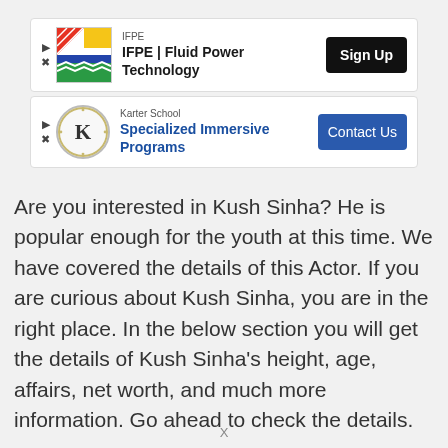[Figure (infographic): Ad banner for IFPE | Fluid Power Technology with Sign Up button]
[Figure (infographic): Ad banner for Karter School Specialized Immersive Programs with Contact Us button]
Are you interested in Kush Sinha? He is popular enough for the youth at this time. We have covered the details of this Actor. If you are curious about Kush Sinha, you are in the right place. In the below section you will get the details of Kush Sinha's height, age, affairs, net worth, and much more information. Go ahead to check the details.
X